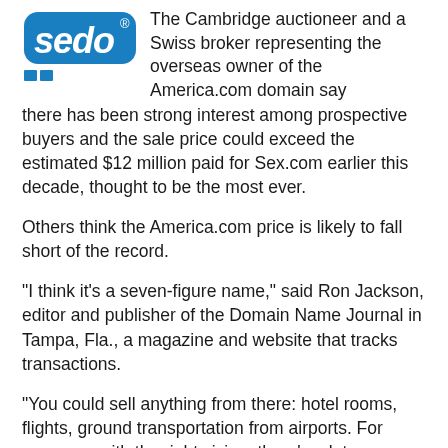[Figure (logo): Sedo logo — blue rounded rectangle with 'sedo' text and registered trademark symbol, with two blue squares below]
The Cambridge auctioneer and a Swiss broker representing the overseas owner of the America.com domain say there has been strong interest among prospective buyers and the sale price could exceed the estimated $12 million paid for Sex.com earlier this decade, thought to be the most ever.
Others think the America.com price is likely to fall short of the record.
“I think it’s a seven-figure name,” said Ron Jackson, editor and publisher of the Domain Name Journal in Tampa, Fla., a magazine and website that tracks transactions.
“You could sell anything from there: hotel rooms, flights, ground transportation from airports. For someone with the right vision, there’s a lot you can do with that name. But I don’t think it’s going to be the all-time highest domain sale.”